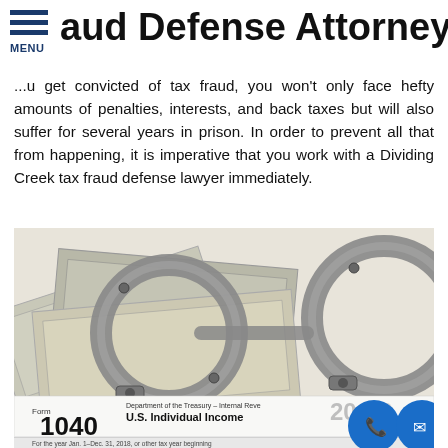aud Defense Attorney
If you get convicted of tax fraud, you won't only face hefty amounts of penalties, interests, and back taxes but will also suffer for several years in prison. In order to prevent all that from happening, it is imperative that you work with a Dividing Creek tax fraud defense lawyer immediately.
[Figure (photo): Photo of handcuffs resting on top of US dollar bills and an IRS Form 1040 U.S. Individual Income Tax Return document]
Form 1040 Department of the Treasury – Internal Revenue U.S. Individual Income [Tax Return] For the year Jan. 1–Dec. 31, 2018, or other tax year beginning / Your first name and initial / Last [name]